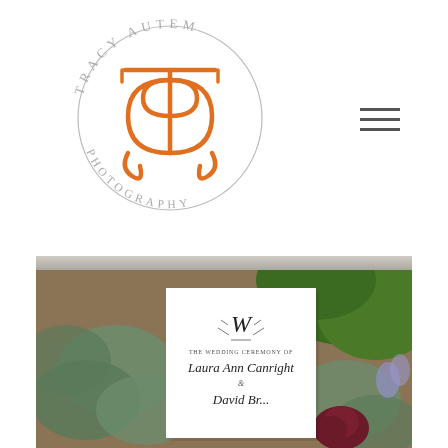[Figure (logo): Tracy Autem Photography circular logo with orange stylized TA monogram in center and gray text around the circle reading TRACY AUTEM PHOTOGRAPHY]
[Figure (photo): Photograph of a wedding ceremony program card with monogram W and text 'The Wedding Ceremony of Laura Ann Canright & David...' surrounded by eucalyptus leaves, grass, and a dark red flower, placed on a stone surface]